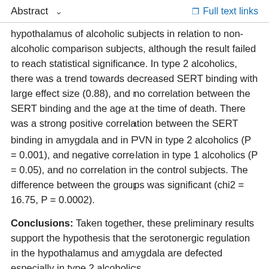Abstract   ∨   Full text links
hypothalamus of alcoholic subjects in relation to non-alcoholic comparison subjects, although the result failed to reach statistical significance. In type 2 alcoholics, there was a trend towards decreased SERT binding with large effect size (0.88), and no correlation between the SERT binding and the age at the time of death. There was a strong positive correlation between the SERT binding in amygdala and in PVN in type 2 alcoholics (P = 0.001), and negative correlation in type 1 alcoholics (P = 0.05), and no correlation in the control subjects. The difference between the groups was significant (chi2 = 16.75, P = 0.0002).
Conclusions: Taken together, these preliminary results support the hypothesis that the serotonergic regulation in the hypothalamus and amygdala are defected especially in type 2 alcoholics.